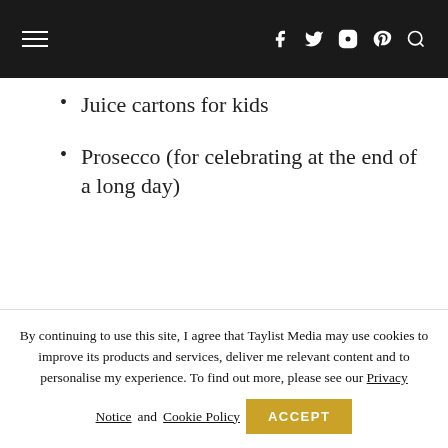☰ f t ⊙ ⊕ 🔍
Juice cartons for kids
Prosecco (for celebrating at the end of a long day)
By continuing to use this site, I agree that Taylist Media may use cookies to improve its products and services, deliver me relevant content and to personalise my experience. To find out more, please see our Privacy Notice and Cookie Policy ACCEPT